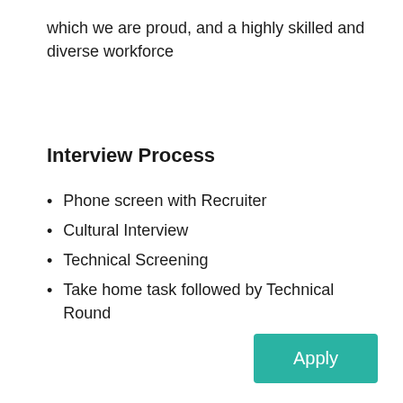which we are proud, and a highly skilled and diverse workforce
Interview Process
Phone screen with Recruiter
Cultural Interview
Technical Screening
Take home task followed by Technical Round
Apply